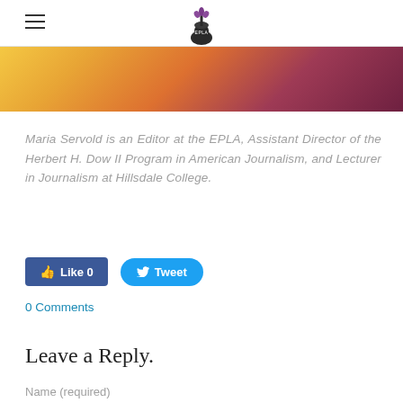EPLA logo and hamburger menu
[Figure (photo): Cropped photo strip showing citrus fruits (orange/grapefruit slices) with warm yellow-orange-red color tones]
Maria Servold is an Editor at the EPLA, Assistant Director of the Herbert H. Dow II Program in American Journalism, and Lecturer in Journalism at Hillsdale College.
Like 0   Tweet
0 Comments
Leave a Reply.
Name (required)